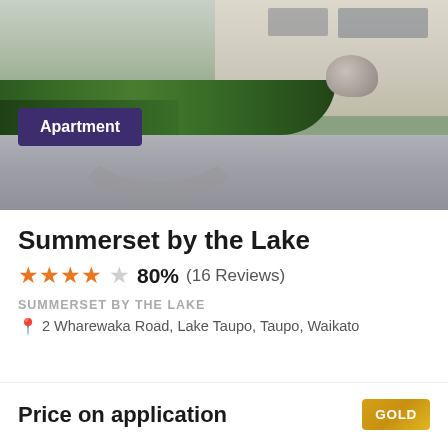[Figure (photo): Exterior photo of a residential/apartment complex with landscaped gardens, shrubs, a large rock feature, and a driveway]
Apartment
Summerset by the Lake
★★★★☆ 80% (16 Reviews)
SUMMERSET BY THE LAKE
2 Wharewaka Road, Lake Taupo, Taupo, Waikato
Price on application
GOLD